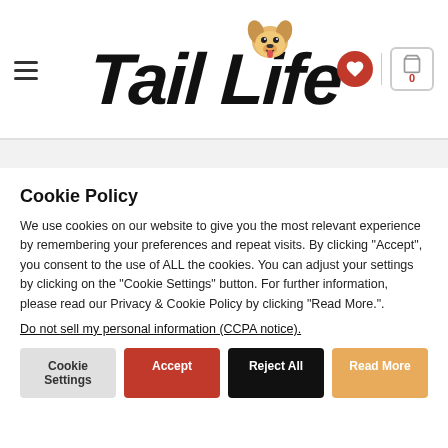Tail Life — navigation header with hamburger menu, logo, heart wishlist icon, and cart (0)
Cookie Policy
We use cookies on our website to give you the most relevant experience by remembering your preferences and repeat visits. By clicking "Accept", you consent to the use of ALL the cookies. You can adjust your settings by clicking on the "Cookie Settings" button. For further information, please read our Privacy & Cookie Policy by clicking "Read More.".
Do not sell my personal information (CCPA notice).
Cookie Settings
Accept
Reject All
Read More